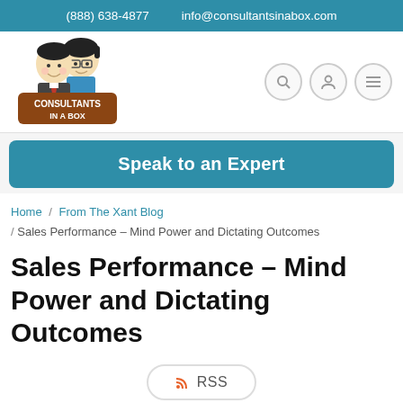(888) 638-4877    info@consultantsinabox.com
[Figure (logo): Consultants In A Box logo — two cartoon characters (a man and a woman with glasses) above a brown badge with white text 'CONSULTANTS IN A BOX']
Speak to an Expert
Home / From The Xant Blog / Sales Performance – Mind Power and Dictating Outcomes
Sales Performance – Mind Power and Dictating Outcomes
RSS